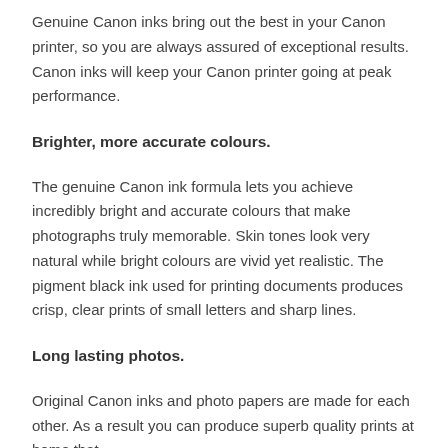Genuine Canon inks bring out the best in your Canon printer, so you are always assured of exceptional results. Canon inks will keep your Canon printer going at peak performance.
Brighter, more accurate colours.
The genuine Canon ink formula lets you achieve incredibly bright and accurate colours that make photographs truly memorable. Skin tones look very natural while bright colours are vivid yet realistic. The pigment black ink used for printing documents produces crisp, clear prints of small letters and sharp lines.
Long lasting photos.
Original Canon inks and photo papers are made for each other. As a result you can produce superb quality prints at home that